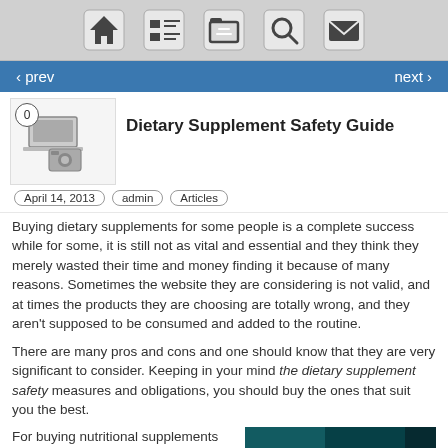nav bar with home, list, folder, search, mail icons
‹ prev   next ›
[Figure (illustration): Thumbnail image with camera/media icons]
Dietary Supplement Safety Guide
April 14, 2013  admin  Articles
Buying dietary supplements for some people is a complete success while for some, it is still not as vital and essential and they think they merely wasted their time and money finding it because of many reasons. Sometimes the website they are considering is not valid, and at times the products they are choosing are totally wrong, and they aren't supposed to be consumed and added to the routine.
There are many pros and cons and one should know that they are very significant to consider. Keeping in your mind the dietary supplement safety measures and obligations, you should buy the ones that suit you the best.
For buying nutritional supplements with safety measurements and precautions one
[Figure (photo): Partial image with teal/dark background, bottom right of page]